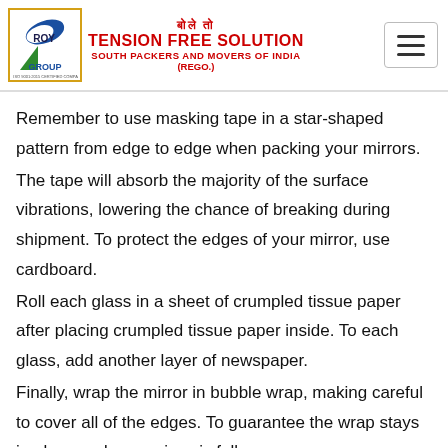बोले तो TENSION FREE SOLUTION SOUTH PACKERS AND MOVERS OF INDIA (REGO.)
Remember to use masking tape in a star-shaped pattern from edge to edge when packing your mirrors.
The tape will absorb the majority of the surface vibrations, lowering the chance of breaking during shipment. To protect the edges of your mirror, use cardboard.
Roll each glass in a sheet of crumpled tissue paper after placing crumpled tissue paper inside. To each glass, add another layer of newspaper.
Finally, wrap the mirror in bubble wrap, making careful to cover all of the edges. To guarantee the wrap stays in place and your mirror is fully